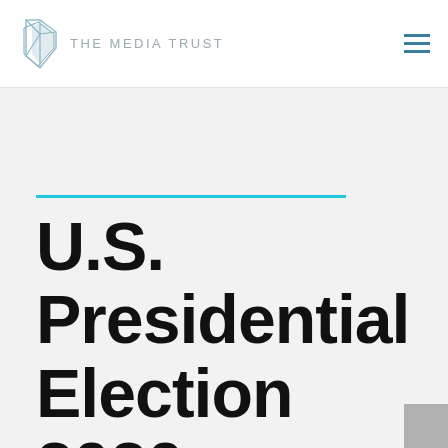THE MEDIA TRUST
U.S. Presidential Election 2020